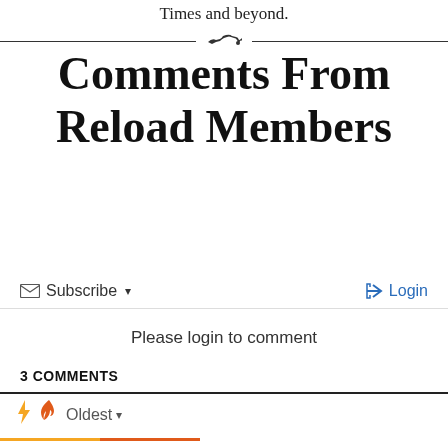Times and beyond.
Comments From Reload Members
Subscribe ▾   Login
Please login to comment
3 COMMENTS
⚡ 🔥 Oldest ▾